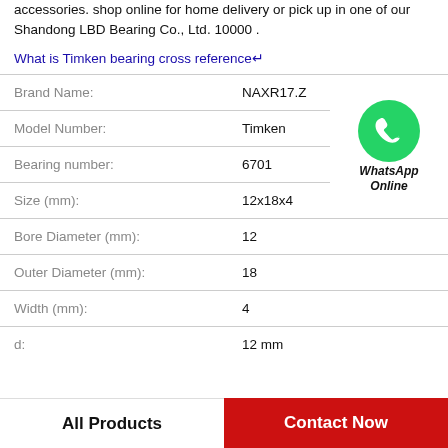accessories. shop online for home delivery or pick up in one of our Shandong LBD Bearing Co., Ltd. 10000 .
What is Timken bearing cross reference↵
| Field | Value |
| --- | --- |
| Brand Name: | NAXR17.Z |
| Model Number: | Timken |
| Bearing number: | 6701 |
| Size (mm): | 12x18x4 |
| Bore Diameter (mm): | 12 |
| Outer Diameter (mm): | 18 |
| Width (mm): | 4 |
| d: | 12 mm |
[Figure (logo): WhatsApp Online green phone icon with label WhatsApp Online]
All Products
Contact Now